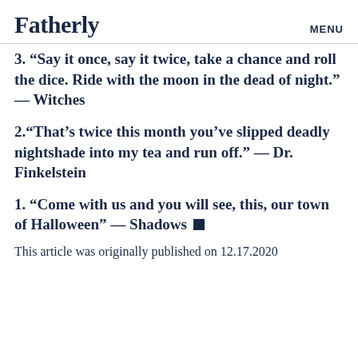Fatherly   MENU
3. “Say it once, say it twice, take a chance and roll the dice. Ride with the moon in the dead of night.” — Witches
2.“That’s twice this month you’ve slipped deadly nightshade into my tea and run off.” — Dr. Finkelstein
1. “Come with us and you will see, this, our town of Halloween” — Shadows
This article was originally published on 12.17.2020